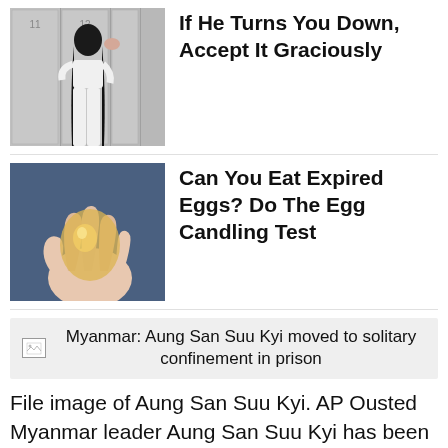[Figure (photo): Woman in white outfit standing in front of lockers]
If He Turns You Down, Accept It Graciously
[Figure (photo): Hand holding a translucent egg up to light for candling test]
Can You Eat Expired Eggs? Do The Egg Candling Test
[Figure (photo): Myanmar: Aung San Suu Kyi moved to solitary confinement in prison]
File image of Aung San Suu Kyi. AP Ousted Myanmar leader Aung San Suu Kyi has been moved from house arrest to solitary confinement in a prison compound in the military-built capital Naypyidaw, a junta spokesman said on Thursday.